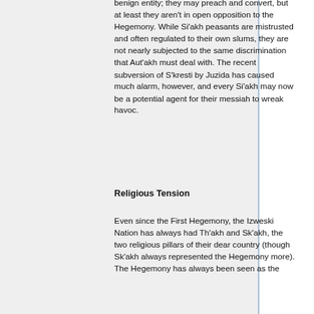benign entity; they may preach and convert, but at least they aren't in open opposition to the Hegemony. While Si'akh peasants are mistrusted and often regulated to their own slums, they are not nearly subjected to the same discrimination that Aut'akh must deal with. The recent subversion of S'kresti by Juzida has caused much alarm, however, and every Si'akh may now be a potential agent for their messiah to wreak havoc.
Religious Tension
Even since the First Hegemony, the Izweski Nation has always had Th'akh and Sk'akh, the two religious pillars of their dear country (though Sk'akh always represented the Hegemony more). The Hegemony has always been seen as the